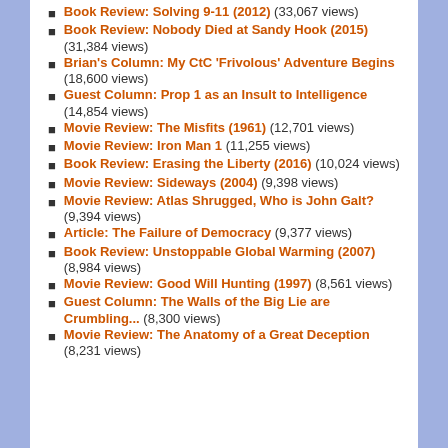Book Review: Solving 9-11 (2012) (33,067 views)
Book Review: Nobody Died at Sandy Hook (2015) (31,384 views)
Brian's Column: My CtC 'Frivolous' Adventure Begins (18,600 views)
Guest Column: Prop 1 as an Insult to Intelligence (14,854 views)
Movie Review: The Misfits (1961) (12,701 views)
Movie Review: Iron Man 1 (11,255 views)
Book Review: Erasing the Liberty (2016) (10,024 views)
Movie Review: Sideways (2004) (9,398 views)
Movie Review: Atlas Shrugged, Who is John Galt? (9,394 views)
Article: The Failure of Democracy (9,377 views)
Book Review: Unstoppable Global Warming (2007) (8,984 views)
Movie Review: Good Will Hunting (1997) (8,561 views)
Guest Column: The Walls of the Big Lie are Crumbling... (8,300 views)
Movie Review: The Anatomy of a Great Deception (8,231 views)